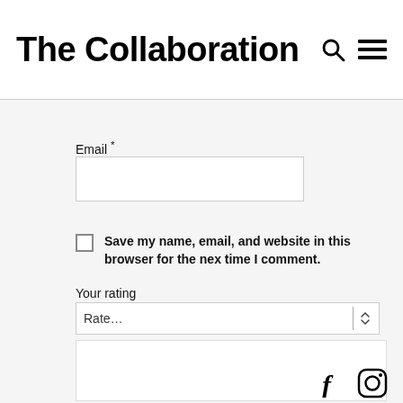The Collaboration
Email *
[Figure (other): Email input text field (empty)]
Save my name, email, and website in this browser for the next time I comment.
Your rating
[Figure (other): Rate... dropdown select field]
[Figure (other): Empty comment/text area box]
[Figure (other): Facebook and Instagram social media icons]